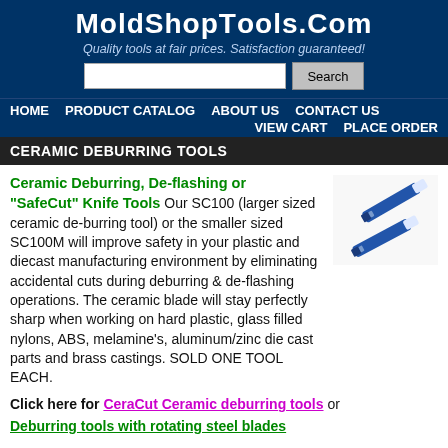MoldShopTools.com
Quality tools at fair prices. Satisfaction guaranteed!
HOME  PRODUCT CATALOG  ABOUT US  CONTACT US  VIEW CART  PLACE ORDER
CERAMIC DEBURRING TOOLS
Ceramic Deburring, De-flashing or "SafeCut" Knife Tools Our SC100 (larger sized ceramic de-burring tool) or the smaller sized SC100M will improve safety in your plastic and diecast manufacturing environment by eliminating accidental cuts during deburring & de-flashing operations. The ceramic blade will stay perfectly sharp when working on hard plastic, glass filled nylons, ABS, melamine's, aluminum/zinc die cast parts and brass castings. SOLD ONE TOOL EACH.
[Figure (photo): Photo of two blue ceramic deburring knife tools]
Click here for  CeraCut Ceramic deburring tools or Deburring tools with rotating steel blades